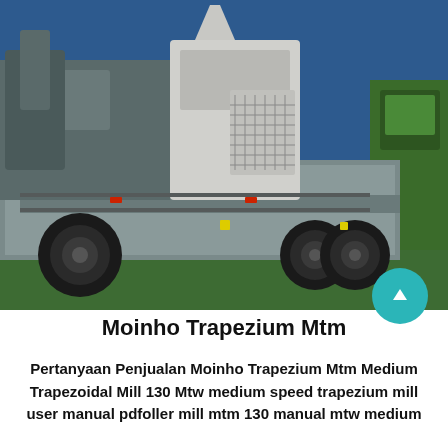[Figure (photo): Photograph of heavy industrial milling or crushing machinery mounted on trucks/trailers, parked on grass in front of a blue building. The machinery appears to be mobile aggregate processing equipment. A green truck is visible on the right side.]
Moinho Trapezium Mtm
Pertanyaan Penjualan Moinho Trapezium Mtm Medium Trapezoidal Mill 130 Mtw medium speed trapezium mill user manual pdfoller mill mtm 130 manual mtw medium